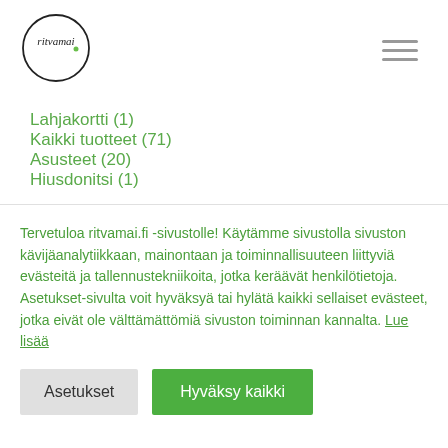[Figure (logo): ritvamai circular logo with hand-written text inside a circle]
Lahjakortti (1)
Kaikki tuotteet (71)
Asusteet (20)
Hiusdonitsi (1)
Tervetuloa ritvamai.fi -sivustolle! Käytämme sivustolla sivuston kävijäanalytiikkaan, mainontaan ja toiminnallisuuteen liittyviä evästeitä ja tallennustekniikoita, jotka keräävät henkilötietoja. Asetukset-sivulta voit hyväksyä tai hylätä kaikki sellaiset evästeet, jotka eivät ole välttämättömiä sivuston toiminnan kannalta. Lue lisää
Asetukset | Hyväksy kaikki